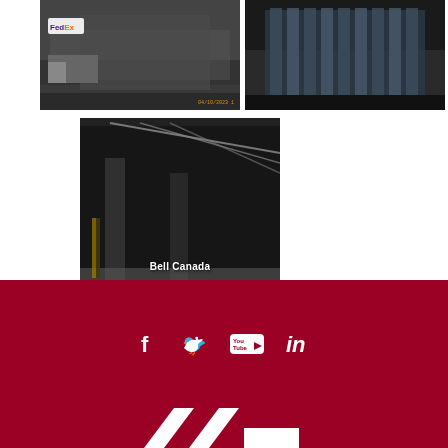[Figure (photo): FEDEX New Building exterior photo showing a FedEx truck and building facade, dated 04/10/2023]
[Figure (photo): Barrie Addi exterior photo showing a modern glass building facade at night]
[Figure (photo): Bell Canada interior photo showing warehouse/industrial space with ceiling lights]
[Figure (logo): Social media icons: Facebook, Twitter, YouTube, LinkedIn on dark red background, followed by company logo at bottom]